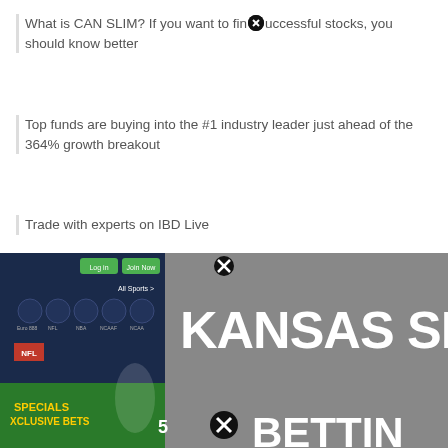What is CAN SLIM? If you want to find successful stocks, you should know better
Top funds are buying into the #1 industry leader just ahead of the 364% growth breakout
Trade with experts on IBD Live
Get an edge in the stock market with IBD Digital
Rally will not do this; BBBY's "Reversion To The Meme"
[Figure (photo): Advertisement banner showing a sports betting app interface on the left with 'SPECIALS EXCLUSIVE BETS' text and a football player, alongside text reading 'KANSAS SP' and 'BETTIN' on a grey background. Two close/dismiss button icons (X in circle) are visible.]